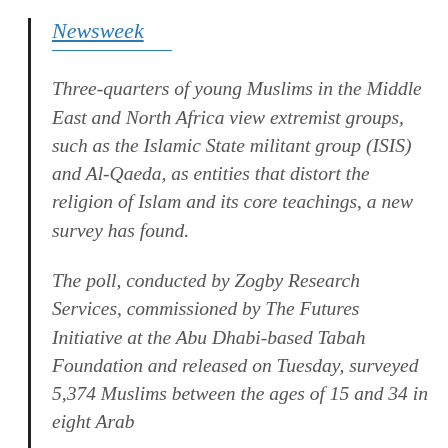Newsweek
Three-quarters of young Muslims in the Middle East and North Africa view extremist groups, such as the Islamic State militant group (ISIS) and Al-Qaeda, as entities that distort the religion of Islam and its core teachings, a new survey has found.
The poll, conducted by Zogby Research Services, commissioned by The Futures Initiative at the Abu Dhabi-based Tabah Foundation and released on Tuesday, surveyed 5,374 Muslims between the ages of 15 and 34 in eight Arab